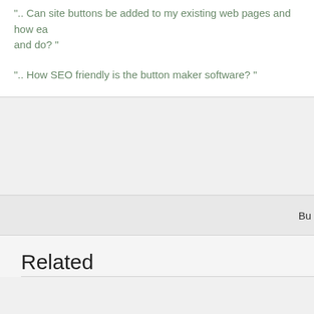".. Can site buttons be added to my existing web pages and how easy are they to use and do?"
".. How SEO friendly is the button maker software?"
Buy
Related